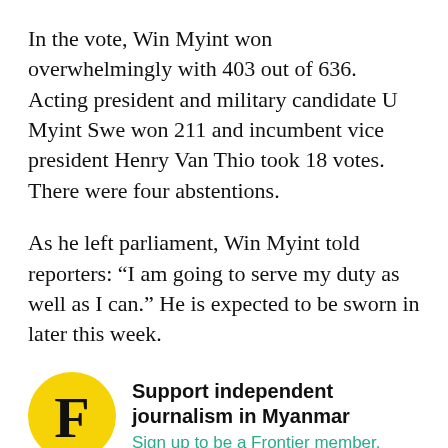In the vote, Win Myint won overwhelmingly with 403 out of 636. Acting president and military candidate U Myint Swe won 211 and incumbent vice president Henry Van Thio took 18 votes. There were four abstentions.
As he left parliament, Win Myint told reporters: “I am going to serve my duty as well as I can.” He is expected to be sworn in later this week.
[Figure (logo): Yellow circle with large black letter F — Frontier Myanmar logo]
Support independent journalism in Myanmar
Sign up to be a Frontier member.
Born in Danubyu, on the western banks of the Irrawaddy River, in Ayeyarwady Region in 1951, he